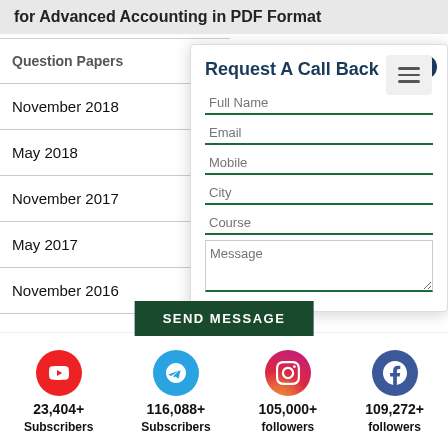for Advanced Accounting in PDF Format
| Question Papers |
| --- |
| November 2018 |
| May 2018 |
| November 2017 |
| May 2017 |
| November 2016 |
Request A Call Back
Full Name
Email
Mobile
City
Course
Message
SEND MESSAGE
23,404+ Subscribers
116,088+ Subscribers
105,000+ followers
109,272+ followers